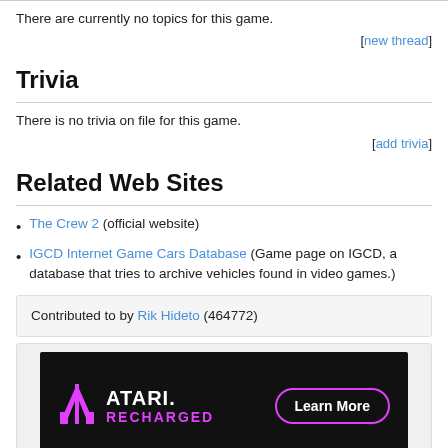There are currently no topics for this game.
[new thread]
Trivia
There is no trivia on file for this game.
[add trivia]
Related Web Sites
The Crew 2 (official website)
IGCD Internet Game Cars Database (Game page on IGCD, a database that tries to archive vehicles found in video games.)
Contributed to by Rik Hideto (464772)
[Figure (photo): Atari Recharged advertisement banner with logo and Learn More button]